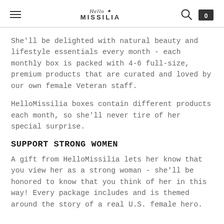Hello Missilia — navigation header with hamburger menu, logo, search and cart icons
She'll be delighted with natural beauty and lifestyle essentials every month - each monthly box is packed with 4-6 full-size, premium products that are curated and loved by our own female Veteran staff.
HelloMissilia boxes contain different products each month, so she'll never tire of her special surprise.
SUPPORT STRONG WOMEN
A gift from HelloMissilia lets her know that you view her as a strong woman - she'll be honored to know that you think of her in this way!  Every package includes and is themed around the story of a real U.S. female hero.